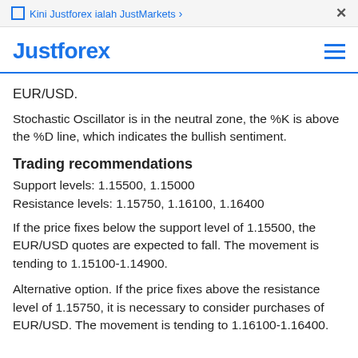🔲 Kini Justforex ialah JustMarkets ›  ×
Justforex
EUR/USD.
Stochastic Oscillator is in the neutral zone, the %K is above the %D line, which indicates the bullish sentiment.
Trading recommendations
Support levels: 1.15500, 1.15000
Resistance levels: 1.15750, 1.16100, 1.16400
If the price fixes below the support level of 1.15500, the EUR/USD quotes are expected to fall. The movement is tending to 1.15100-1.14900.
Alternative option. If the price fixes above the resistance level of 1.15750, it is necessary to consider purchases of EUR/USD. The movement is tending to 1.16100-1.16400.